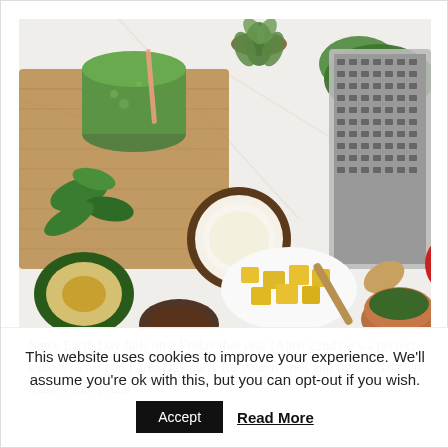[Figure (photo): Overhead flat lay photo of healthy foods and a laptop on a white marble surface: green smoothie in a mason jar, avocado, coconut, pineapple chunks, strawberries, spinach leaves, succulent plant in pot, wooden spoon, small bowl with herbs, and a silver laptop keyboard visible on the right.]
Since Earth Day falls on a Friday this year (April 22nd), it's a perfect excuse to host an Earth Day party for your friends and family. To help make your special
This website uses cookies to improve your experience. We'll assume you're ok with this, but you can opt-out if you wish.
Accept   Read More